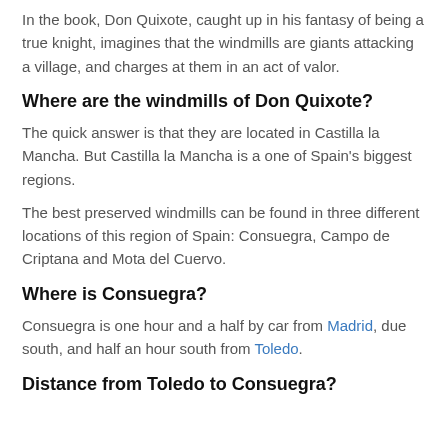In the book, Don Quixote, caught up in his fantasy of being a true knight, imagines that the windmills are giants attacking a village, and charges at them in an act of valor.
Where are the windmills of Don Quixote?
The quick answer is that they are located in Castilla la Mancha. But Castilla la Mancha is a one of Spain's biggest regions.
The best preserved windmills can be found in three different locations of this region of Spain: Consuegra, Campo de Criptana and Mota del Cuervo.
Where is Consuegra?
Consuegra is one hour and a half by car from Madrid, due south, and half an hour south from Toledo.
Distance from Toledo to Consuegra?